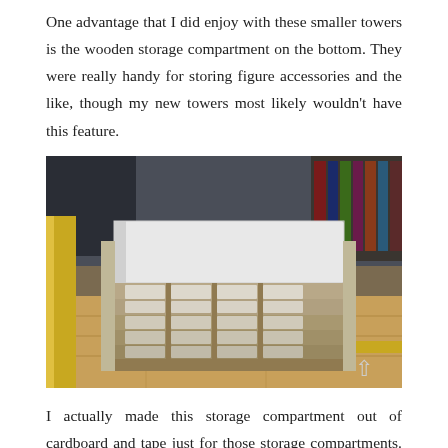One advantage that I did enjoy with these smaller towers is the wooden storage compartment on the bottom. They were really handy for storing figure accessories and the like, though my new towers most likely wouldn't have this feature.
[Figure (photo): A DIY cardboard storage compartment structure sitting on a wooden floor, showing multiple grid-like compartments made from cardboard, with a white flat top panel. Books visible on a shelf in the background.]
I actually made this storage compartment out of cardboard and tape just for those storage compartments. It fit perfectly, and was a